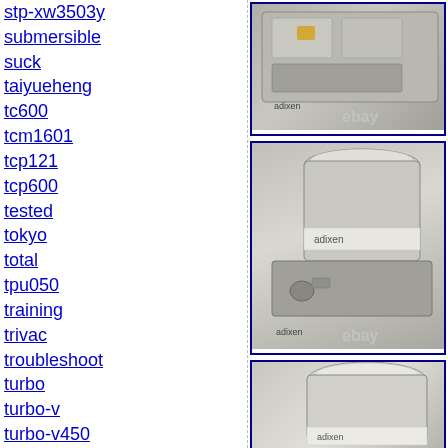stp-xw3503y
submersible
suck
taiyueheng
tc600
tcm1601
tcp121
tcp600
tested
tokyo
total
tpu050
training
trivac
troubleshoot
turbo
turbo-v
turbo-v450
turbocharger
turbomolecular
turbopump
turbos
turbotronik
turbovac
[Figure (photo): Adixen turbomolecular pump top view, silver metallic, with adixen branding and eBay watermark]
[Figure (photo): Adixen turbomolecular pump side view with controller base, silver metallic, adixen branding and eBay watermark]
[Figure (photo): Adixen turbomolecular pump top portion, silver metallic, adixen branding partially visible]